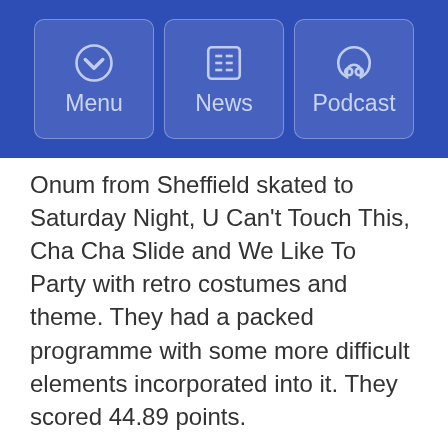Menu | News | Podcast
Onum from Sheffield skated to Saturday Night, U Can't Touch This, Cha Cha Slide and We Like To Party with retro costumes and theme. They had a packed programme with some more difficult elements incorporated into it. They scored 44.89 points.
Advanced Novice
There was only one entry for this category; Ice Dreams from Nottingham. Skating to Aladdin in blue and purple costumes, they delivered a fast skate with a very entertaining opening with really sharp movements. There were plenty of arm movements which added to the theme of the programme. They